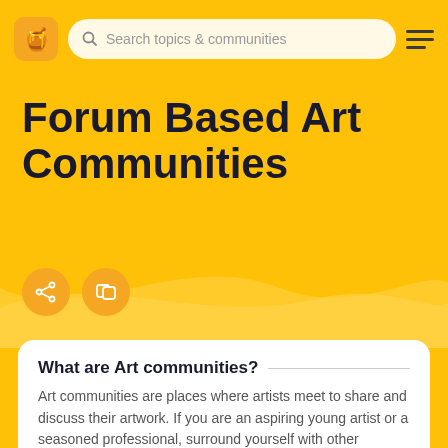Search topics & communities
Forum Based Art Communities
What are Art communities?
Art communities are places where artists meet to share and discuss their artwork. If you are an aspiring young artist or a seasoned professional, surround yourself with other creatives in one of these communities.
About Communities Tagged with "Forum"